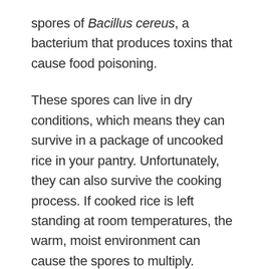spores of Bacillus cereus, a bacterium that produces toxins that cause food poisoning.
These spores can live in dry conditions, which means they can survive in a package of uncooked rice in your pantry. Unfortunately, they can also survive the cooking process. If cooked rice is left standing at room temperatures, the warm, moist environment can cause the spores to multiply.
In order to reduce the risk to you and your family, it is always best to serve rice immediately after cooking and to refrigerate cooked rice as soon as possible after cooking. When reheating rice,